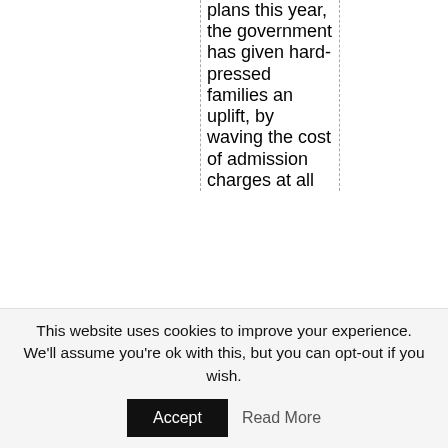plans this year, the government has given hard-pressed families an uplift, by waiving the cost of admission charges at all
This website uses cookies to improve your experience. We'll assume you're ok with this, but you can opt-out if you wish.